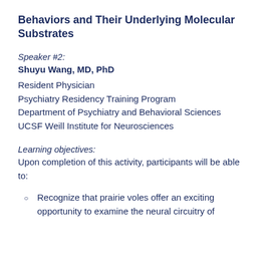Behaviors and Their Underlying Molecular Substrates
Speaker #2:
Shuyu Wang, MD, PhD
Resident Physician
Psychiatry Residency Training Program
Department of Psychiatry and Behavioral Sciences
UCSF Weill Institute for Neurosciences
Learning objectives:
Upon completion of this activity, participants will be able to:
Recognize that prairie voles offer an exciting opportunity to examine the neural circuitry of